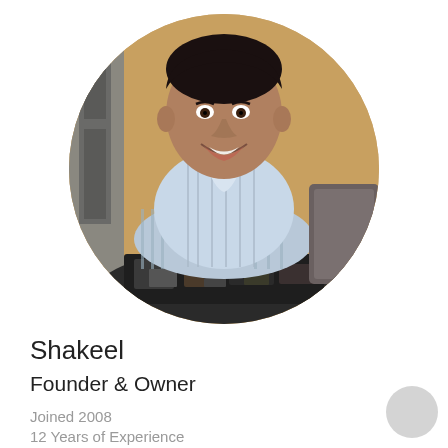[Figure (photo): Circular cropped profile photo of a smiling man named Shakeel, wearing a striped light blue shirt with arms crossed, leaning on a table covered with books/items, with an orange/tan background.]
Shakeel
Founder & Owner
Joined 2008
12 Years of Experience